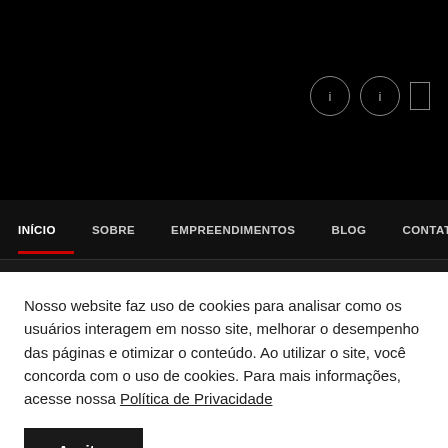[Figure (screenshot): Black header area with dark background and circular icon buttons on the right side]
INÍCIO   SOBRE   EMPREENDIMENTOS   BLOG   CONTATO
Nosso website faz uso de cookies para analisar como os usuários interagem em nosso site, melhorar o desempenho das páginas e otimizar o conteúdo. Ao utilizar o site, você concorda com o uso de cookies. Para mais informações, acesse nossa Política de Privacidade
Aceitar